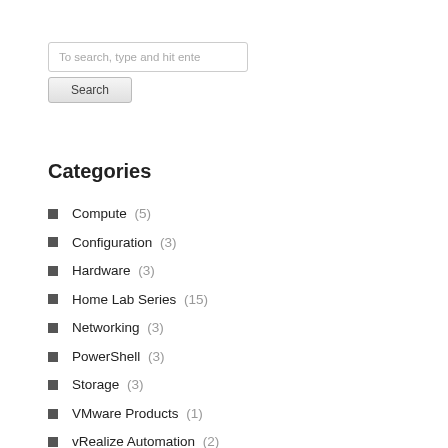To search, type and hit enter
Search
Categories
Compute (5)
Configuration (3)
Hardware (3)
Home Lab Series (15)
Networking (3)
PowerShell (3)
Storage (3)
VMware Products (1)
vRealize Automation (2)
vRealize Orchestrator (3)